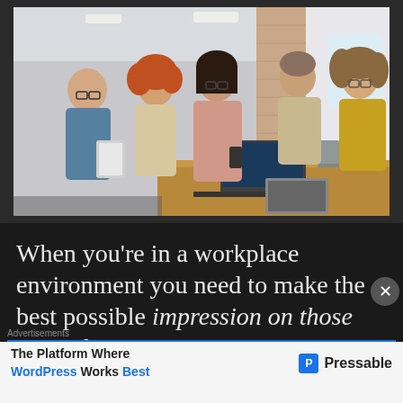[Figure (photo): Group of five coworkers in a modern office hallway gathered around a wooden standing desk, reviewing content on a laptop and tablet. Three women and two men, diverse, casual business attire.]
When you're in a workplace environment you need to make the best possible impression on those around you: It's not
Advertisements
The Platform Where WordPress Works Best
[Figure (logo): Pressable logo with blue square icon containing letter P and the word Pressable in bold]